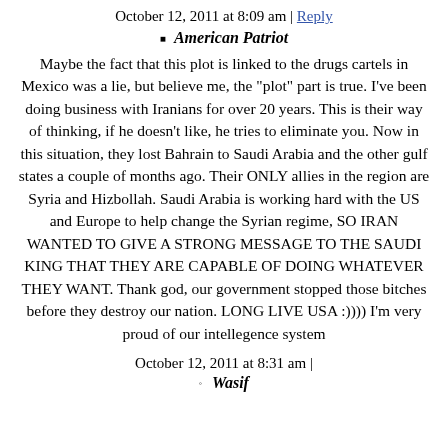October 12, 2011 at 8:09 am | Reply
American Patriot
Maybe the fact that this plot is linked to the drugs cartels in Mexico was a lie, but believe me, the "plot" part is true. I've been doing business with Iranians for over 20 years. This is their way of thinking, if he doesn't like, he tries to eliminate you. Now in this situation, they lost Bahrain to Saudi Arabia and the other gulf states a couple of months ago. Their ONLY allies in the region are Syria and Hizbollah. Saudi Arabia is working hard with the US and Europe to help change the Syrian regime, SO IRAN WANTED TO GIVE A STRONG MESSAGE TO THE SAUDI KING THAT THEY ARE CAPABLE OF DOING WHATEVER THEY WANT. Thank god, our government stopped those bitches before they destroy our nation. LONG LIVE USA :)))) I'm very proud of our intellegence system
October 12, 2011 at 8:31 am |
Wasif